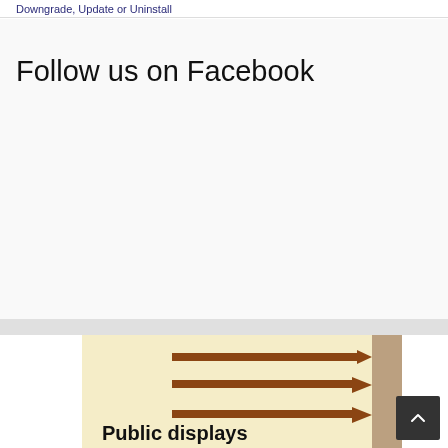Downgrade, Update or Uninstall
Follow us on Facebook
[Figure (photo): Old public display poster with brown arrows and bold text 'Public displays' on a cream/yellow background with a dark right edge. A dark scroll-to-top button is visible at lower right.]